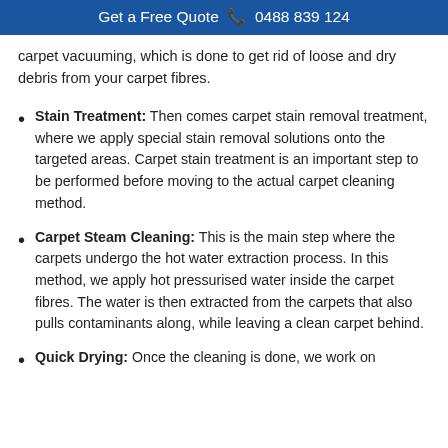Get a Free Quote 📞 0488 839 124
carpet vacuuming, which is done to get rid of loose and dry debris from your carpet fibres.
Stain Treatment: Then comes carpet stain removal treatment, where we apply special stain removal solutions onto the targeted areas. Carpet stain treatment is an important step to be performed before moving to the actual carpet cleaning method.
Carpet Steam Cleaning: This is the main step where the carpets undergo the hot water extraction process. In this method, we apply hot pressurised water inside the carpet fibres. The water is then extracted from the carpets that also pulls contaminants along, while leaving a clean carpet behind.
Quick Drying: Once the cleaning is done, we work on